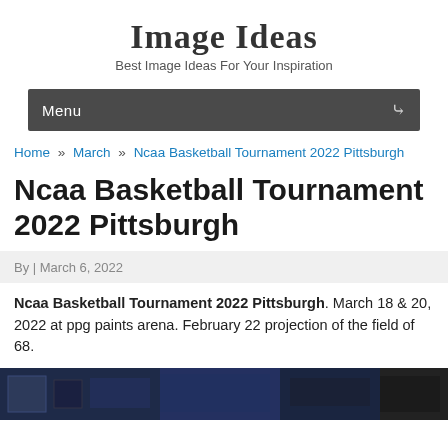Image Ideas
Best Image Ideas For Your Inspiration
Menu
Home » March » Ncaa Basketball Tournament 2022 Pittsburgh
Ncaa Basketball Tournament 2022 Pittsburgh
By | March 6, 2022
Ncaa Basketball Tournament 2022 Pittsburgh. March 18 & 20, 2022 at ppg paints arena. February 22 projection of the field of 68.
[Figure (photo): Dark image strip showing a basketball arena scene, partially visible at bottom of page]